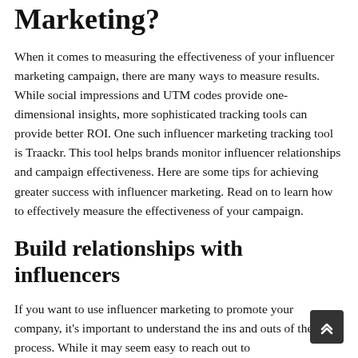Marketing?
When it comes to measuring the effectiveness of your influencer marketing campaign, there are many ways to measure results. While social impressions and UTM codes provide one-dimensional insights, more sophisticated tracking tools can provide better ROI. One such influencer marketing tracking tool is Traackr. This tool helps brands monitor influencer relationships and campaign effectiveness. Here are some tips for achieving greater success with influencer marketing. Read on to learn how to effectively measure the effectiveness of your campaign.
Build relationships with influencers
If you want to use influencer marketing to promote your company, it's important to understand the ins and outs of the process. While it may seem easy to reach out to